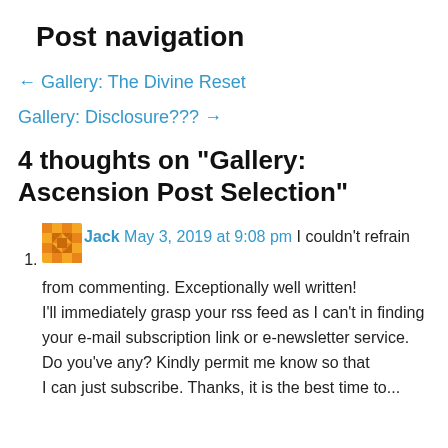Post navigation
← Gallery: The Divine Reset
Gallery: Disclosure??? →
4 thoughts on “Gallery: Ascension Post Selection”
Jack May 3, 2019 at 9:08 pm I couldn’t refrain from commenting. Exceptionally well written! I’ll immediately grasp your rss feed as I can't in finding your e-mail subscription link or e-newsletter service. Do you've any? Kindly permit me know so that I can just subscribe. Thanks, it is the best time to...